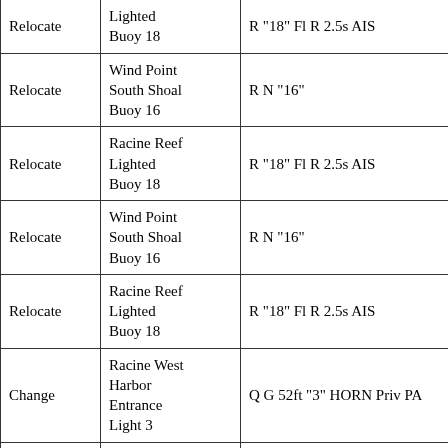| Relocate | Lighted Buoy 18 | R "18" Fl R 2.5s AIS |
| Relocate | Wind Point South Shoal Buoy 16 | R N "16" |
| Relocate | Racine Reef Lighted Buoy 18 | R "18" Fl R 2.5s AIS |
| Relocate | Wind Point South Shoal Buoy 16 | R N "16" |
| Relocate | Racine Reef Lighted Buoy 18 | R "18" Fl R 2.5s AIS |
| Change | Racine West Harbor Entrance Light 3 | Q G 52ft "3" HORN Priv PA |
| Change | Racine East Harbor Entrance Light 2 | Q R 50ft "2" Priv PA |
|  | Racine Reef |  |